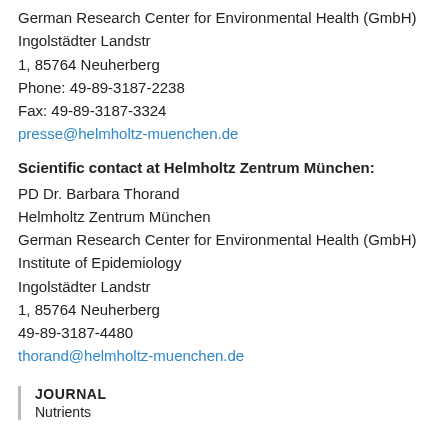German Research Center for Environmental Health (GmbH)
Ingolstädter Landstr
1, 85764 Neuherberg
Phone: 49-89-3187-2238
Fax: 49-89-3187-3324
presse@helmholtz-muenchen.de
Scientific contact at Helmholtz Zentrum München:
PD Dr. Barbara Thorand
Helmholtz Zentrum München
German Research Center for Environmental Health (GmbH)
Institute of Epidemiology
Ingolstädter Landstr
1, 85764 Neuherberg
49-89-3187-4480
thorand@helmholtz-muenchen.de
JOURNAL
Nutrients